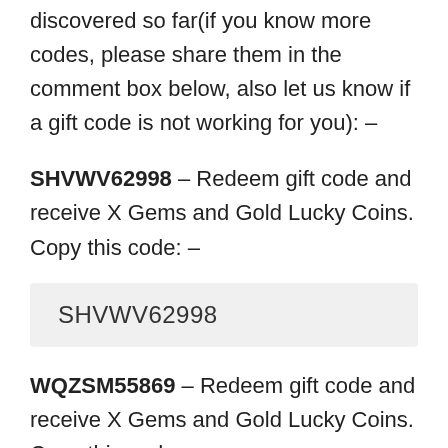discovered so far(if you know more codes, please share them in the comment box below, also let us know if a gift code is not working for you): –
SHVWV62998 – Redeem gift code and receive X Gems and Gold Lucky Coins. Copy this code: –
SHVWV62998
WQZSM55869 – Redeem gift code and receive X Gems and Gold Lucky Coins. Copy this code: –